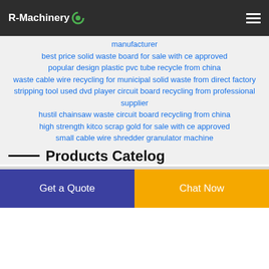R-Machinery
manufacturer
best price solid waste board for sale with ce approved
popular design plastic pvc tube recycle from china
waste cable wire recycling for municipal solid waste from direct factory
stripping tool used dvd player circuit board recycling from professional supplier
hustil chainsaw waste circuit board recycling from china
high strength kitco scrap gold for sale with ce approved
small cable wire shredder granulator machine
Products Catelog